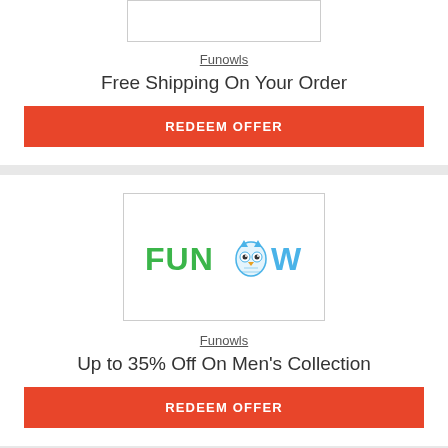[Figure (logo): Funowls logo box (top card, partially visible)]
Funowls
Free Shipping On Your Order
REDEEM OFFER
[Figure (logo): Funowls logo with owl icon — green FUN and blue WLS text with owl face replacing the O]
Funowls
Up to 35% Off On Men's Collection
REDEEM OFFER